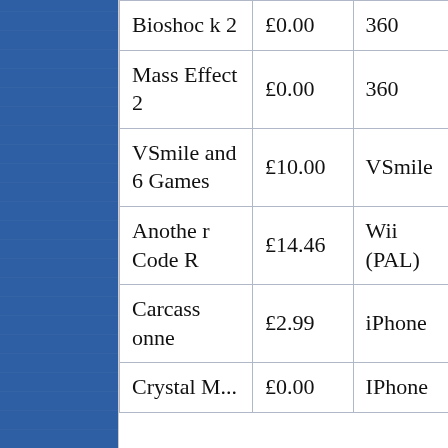| Bioshock 2 | £0.00 | 360 |
| Mass Effect 2 | £0.00 | 360 |
| VSmile and 6 Games | £10.00 | VSmile |
| Another Code R | £14.46 | Wii (PAL) |
| Carcassonne | £2.99 | iPhone |
| Crystal ... | £0.00 | IPhone |